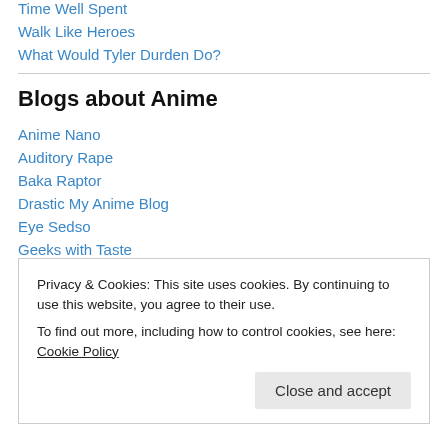Time Well Spent
Walk Like Heroes
What Would Tyler Durden Do?
Blogs about Anime
Anime Nano
Auditory Rape
Baka Raptor
Drastic My Anime Blog
Eye Sedso
Geeks with Taste
Moetron
Privacy & Cookies: This site uses cookies. By continuing to use this website, you agree to their use. To find out more, including how to control cookies, see here: Cookie Policy